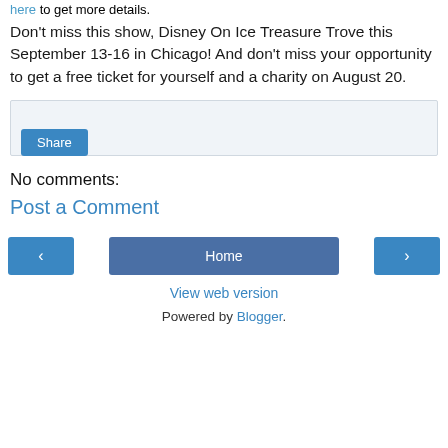here to get more details.
Don't miss this show, Disney On Ice Treasure Trove this September 13-16 in Chicago! And don't miss your opportunity to get a free ticket for yourself and a charity on August 20.
[Figure (other): Share button inside a light gray box]
No comments:
Post a Comment
[Figure (other): Navigation row with left arrow button, Home button, and right arrow button]
View web version
Powered by Blogger.